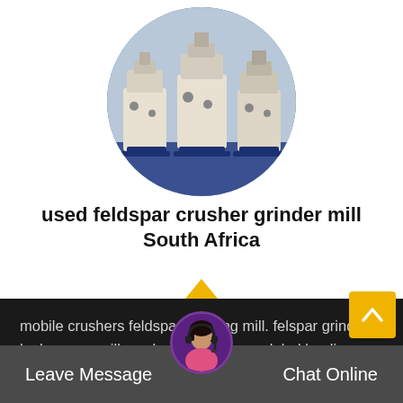[Figure (photo): Circular cropped photo of industrial feldspar crusher grinder mill machines (white/cream colored) with blue base frames, in a warehouse/factory setting]
used feldspar crusher grinder mill South Africa
mobile crushers feldspar grinding mill. felspar grinding by hammer mill crusher in india.as a global leading manufacturer of products and...
[Figure (photo): Customer service representative avatar with headset]